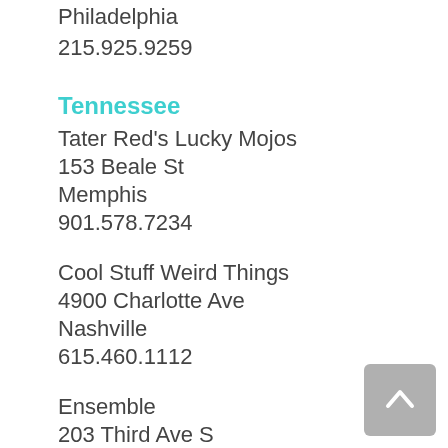Philadelphia
215.925.9259
Tennessee
Tater Red's Lucky Mojos
153 Beale St
Memphis
901.578.7234
Cool Stuff Weird Things
4900 Charlotte Ave
Nashville
615.460.1112
Ensemble
203 Third Ave S